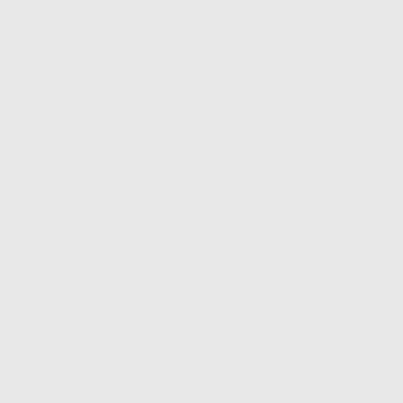Chianti
Pisa
Montalcino
Montepulciano
Volterra
Various
Florence Florence uncover anywhere every time city is a
Everyone destination cypress artistic city of soaring towers and medieval cobbled streets and a truly mag
And the Tuscany region offers so many other jewels to discover as well! You can Pisa, Cortona...and the list goes on and on. The rolling hills of Tuscany covered intriguing history…world renowned wine and cheese will tempt you to return 'und Tuscany region.
The coastal region of Tuscany has long, sandy beaches with high, rocky